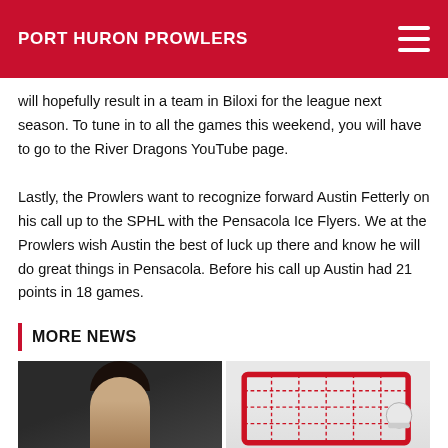PORT HURON PROWLERS
will hopefully result in a team in Biloxi for the league next season. To tune in to all the games this weekend, you will have to go to the River Dragons YouTube page.
Lastly, the Prowlers want to recognize forward Austin Fetterly on his call up to the SPHL with the Pensacola Ice Flyers. We at the Prowlers wish Austin the best of luck up there and know he will do great things in Pensacola. Before his call up Austin had 21 points in 18 games.
MORE NEWS
[Figure (photo): Portrait photo of a young man with dark curly hair against a dark background]
[Figure (photo): Hockey game photo showing a red goal net with a player in white helmet]